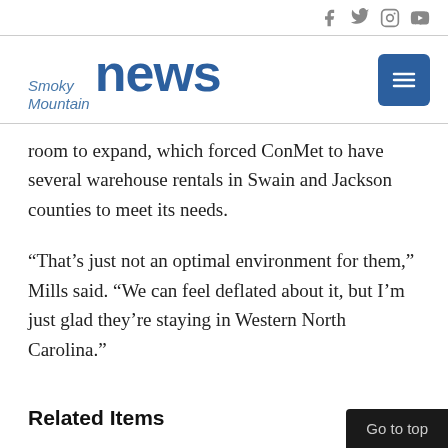Smoky Mountain News — social icons header
[Figure (logo): Smoky Mountain News logo with hamburger menu button]
room to expand, which forced ConMet to have several warehouse rentals in Swain and Jackson counties to meet its needs.
“That’s just not an optimal environment for them,” Mills said. “We can feel deflated about it, but I’m just glad they’re staying in Western North Carolina.”
Related Items
Go to top